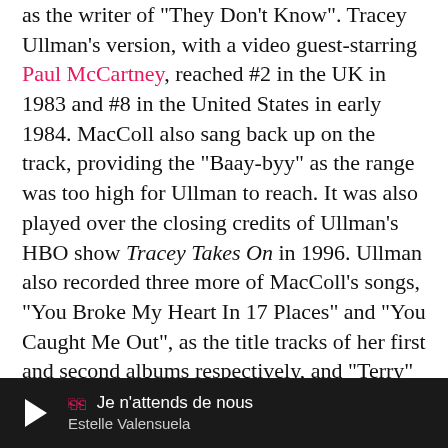as the writer of "They Don't Know". Tracey Ullman's version, with a video guest-starring Paul McCartney, reached #2 in the UK in 1983 and #8 in the United States in early 1984. MacColl also sang back up on the track, providing the "Baay-byy" as the range was too high for Ullman to reach. It was also played over the closing credits of Ullman's HBO show Tracey Takes On in 1996. Ullman also recorded three more of MacColl's songs, "You Broke My Heart In 17 Places" and "You Caught Me Out", as the title tracks of her first and second albums respectively, and "Terry" which was released as a single in 1985.
Chart re-emergence
When Stiff went bankrupt in 1986, MacColl was left unable to record in her own right, as no record company bought her contract from the Official Receiver. However, she had regular
Je n'attends de nous — Estelle Valensuela